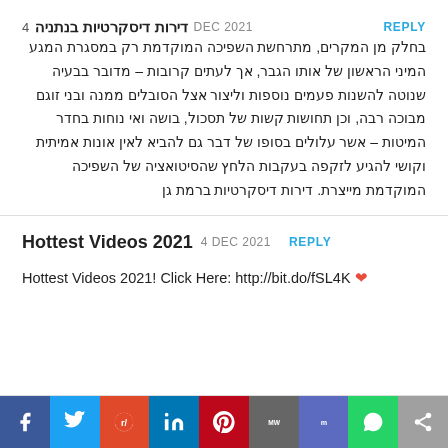4 דירות דיסקרטיות בנתניה DEC 2021 REPLY
בחלק מן המקרים, מתרחשת השפיכה המוקדמת רק במסגרת המגע המיני הראשון של אותו הגבר, אך לעתים קרובות – מדובר בבעיה שנוטה להשנות פעמים נוספות וליצור אצל הסובלים ממנה ובני זוגם מבוכה רבה, וכן תחושות קשות של תסכול, בושה ואי נוחות בחדר המיטות – אשר עלולים בסופו של דבר גם להביא לאין אונות אמיתית וקושי להגיע לזקפה בעקבות הלחץ שהסיטואציה של השפיכה המוקדמת מייצרת. דירות דיסקרטיות ברמת גן
Hottest Videos 2021 4 DEC 2021 REPLY
Hottest Videos 2021! Click Here: http://bit.do/fSL4K ❤